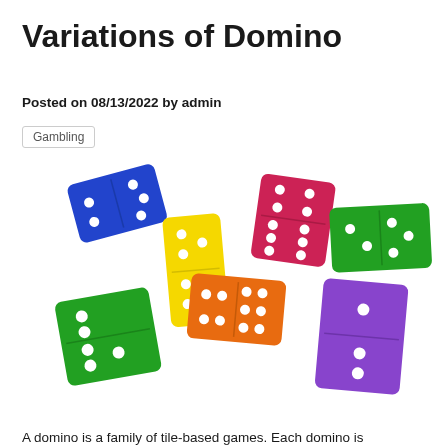Variations of Domino
Posted on 08/13/2022 by admin
Gambling
[Figure (photo): Colorful domino tiles arranged in a connected layout on white background. Tiles are blue, yellow, orange, green, red/pink, and purple, each showing white dots.]
A domino is a family of tile-based games. Each domino is